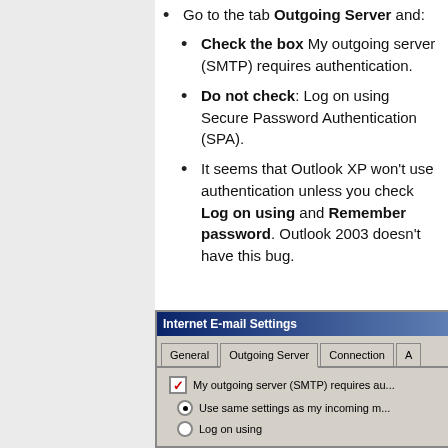Go to the tab Outgoing Server and:
Check the box My outgoing server (SMTP) requires authentication.
Do not check: Log on using Secure Password Authentication (SPA).
It seems that Outlook XP won't use authentication unless you check Log on using and Remember password. Outlook 2003 doesn't have this bug.
[Figure (screenshot): Windows dialog box titled 'Internet E-mail Settings' with tabs: General, Outgoing Server (active), Connection, A... The body shows a checked checkbox 'My outgoing server (SMTP) requires au...' and two radio buttons: 'Use same settings as my incoming m...' (selected) and 'Log on using'.]